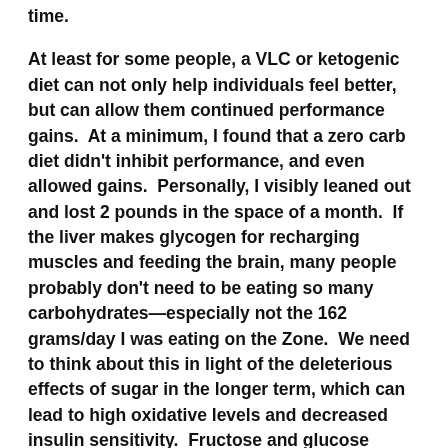time.
At least for some people, a VLC or ketogenic diet can not only help individuals feel better, but can allow them continued performance gains.  At a minimum, I found that a zero carb diet didn't inhibit performance, and even allowed gains.  Personally, I visibly leaned out and lost 2 pounds in the space of a month.  If the liver makes glycogen for recharging muscles and feeding the brain, many people probably don't need to be eating so many carbohydrates—especially not the 162 grams/day I was eating on the Zone.  We need to think about this in light of the deleterious effects of sugar in the longer term, which can lead to high oxidative levels and decreased insulin sensitivity.  Fructose and glucose aren't